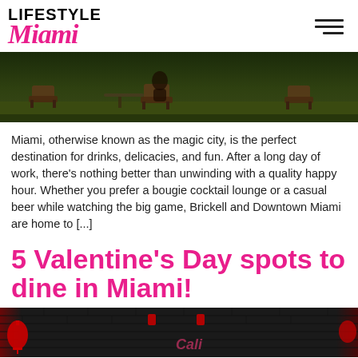LIFESTYLE Miami
[Figure (photo): Outdoor seating area with chairs on green grass, dark background]
Miami, otherwise known as the magic city, is the perfect destination for drinks, delicacies, and fun. After a long day of work, there's nothing better than unwinding with a quality happy hour. Whether you prefer a bougie cocktail lounge or a casual beer while watching the big game, Brickell and Downtown Miami are home to [...]
5 Valentine's Day spots to dine in Miami!
[Figure (photo): Dark brick wall exterior of a restaurant with red lanterns and signage, Valentine's Day dining spot in Miami]